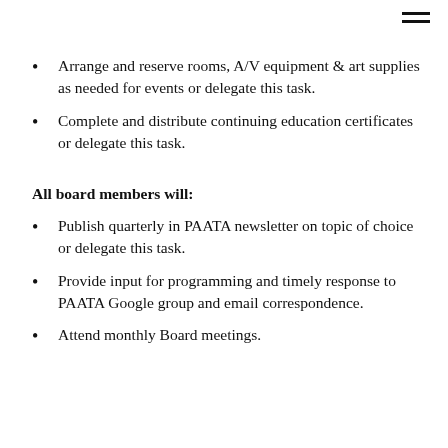Arrange and reserve rooms, A/V equipment & art supplies as needed for events or delegate this task.
Complete and distribute continuing education certificates or delegate this task.
All board members will:
Publish quarterly in PAATA newsletter on topic of choice or delegate this task.
Provide input for programming and timely response to PAATA Google group and email correspondence.
Attend monthly Board meetings.